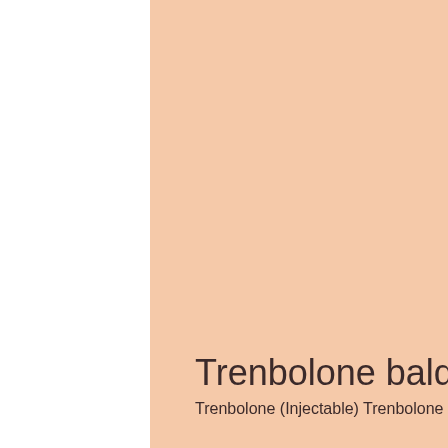[Figure (illustration): Large salmon/peach colored rectangular block occupying most of the page, serving as a decorative background element]
Trenbolone baldness
Trenbolone (Injectable) Trenbolone is